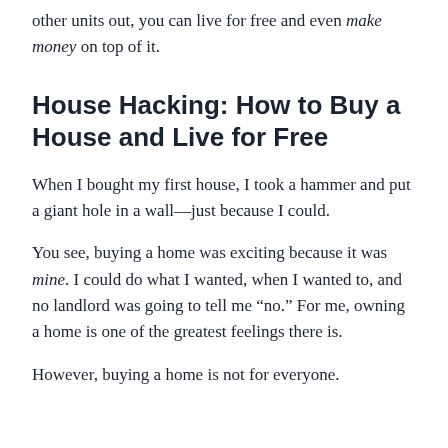other units out, you can live for free and even make money on top of it.
House Hacking: How to Buy a House and Live for Free
When I bought my first house, I took a hammer and put a giant hole in a wall—just because I could.
You see, buying a home was exciting because it was mine. I could do what I wanted, when I wanted to, and no landlord was going to tell me “no.” For me, owning a home is one of the greatest feelings there is.
However, buying a home is not for everyone.